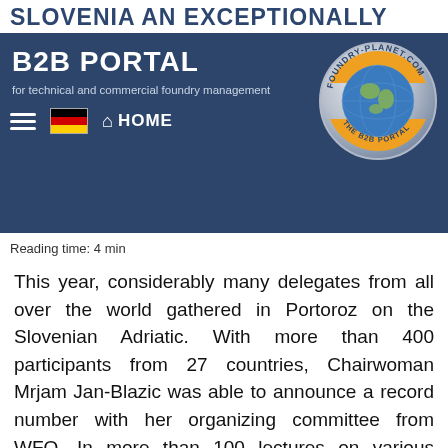SLOVENIA AN EXCEPTIONALLY
B2B PORTAL
for technical and commercial foundry management
[Figure (logo): Foundry-Planet.com circular logo badge with globe and text 'THE B2B PORTAL']
Reading time: 4 min
This year, considerably many delegates from all over the world gathered in Portoroz on the Slovenian Adriatic. With more than 400 participants from 27 countries, Chairwoman Mrjam Jan-Blazic was able to announce a record number with her organizing committee from WFO. In more than 100 lectures on various aspects of foundry technology and